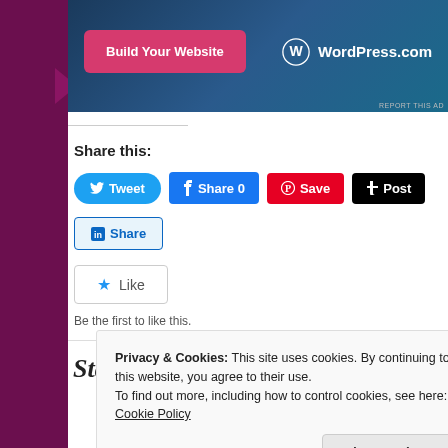[Figure (screenshot): WordPress.com advertisement banner with 'Build Your Website' pink button and WordPress.com logo on dark blue background]
REPORT THIS AD
Share this:
[Figure (screenshot): Social media share buttons: Tweet (Twitter/blue), Share 0 (Facebook/blue), Save (Pinterest/red), Post (Tumblr/black), Share (LinkedIn/light blue)]
[Figure (screenshot): Like button with blue star icon]
Be the first to like this.
Statuario Marble
Privacy & Cookies: This site uses cookies. By continuing to use this website, you agree to their use.
To find out more, including how to control cookies, see here: Cookie Policy
Close and accept